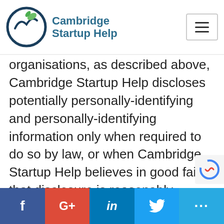Cambridge Startup Help
organisations, as described above, Cambridge Startup Help discloses potentially personally-identifying and personally-identifying information only when required to do so by law, or when Cambridge Startup Help believes in good faith that disclosure is reasonably necessary to protect the property or rights of Cambridge Startup Help, third parties or the public at large. If you are a registered user of an Cambridge Startup Help website and have supplied your email address, Cambridge Startup Help may occasionally send you an email to tell yo
f  G+  in  (twitter)  ...